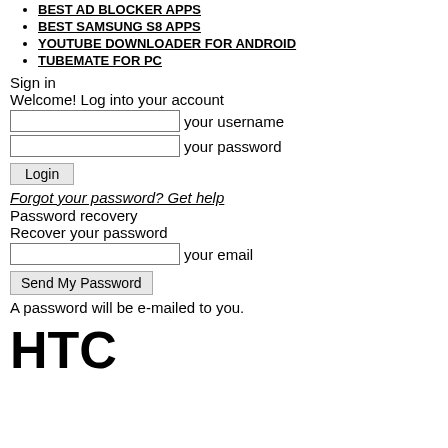BEST AD BLOCKER APPS
BEST SAMSUNG S8 APPS
YOUTUBE DOWNLOADER FOR ANDROID
TUBEMATE FOR PC
Sign in
Welcome! Log into your account
your username
your password
Login
Forgot your password? Get help
Password recovery
Recover your password
your email
Send My Password
A password will be e-mailed to you.
HTC